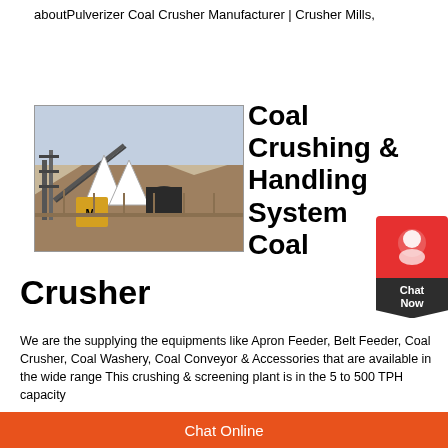aboutPulverizer Coal Crusher Manufacturer | Crusher Mills,
[Figure (photo): Outdoor industrial coal crushing and handling facility with machinery, conveyor structures, triangular hoppers, and hillside terrain in the background.]
Coal Crushing & Handling System Coal Crusher
We are the supplying the equipments like Apron Feeder, Belt Feeder, Coal Crusher, Coal Washery, Coal Conveyor & Accessories that are available in the wide range This crushing & screening plant is in the 5 to 500 TPH capacity They...
Chat Online